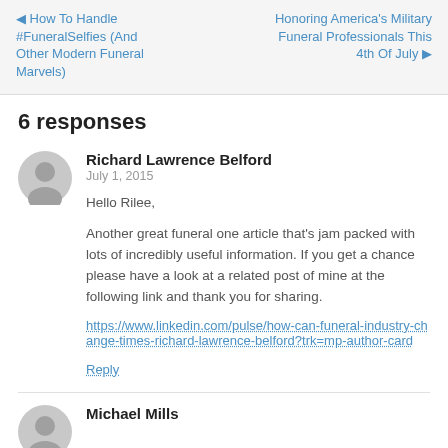◀ How To Handle #FuneralSelfies (And Other Modern Funeral Marvels) | Honoring America's Military Funeral Professionals This 4th Of July ▶
6 responses
Richard Lawrence Belford
July 1, 2015
Hello Rilee,
Another great funeral one article that's jam packed with lots of incredibly useful information. If you get a chance please have a look at a related post of mine at the following link and thank you for sharing.
https://www.linkedin.com/pulse/how-can-funeral-industry-change-times-richard-lawrence-belford?trk=mp-author-card
Reply
Michael Mills